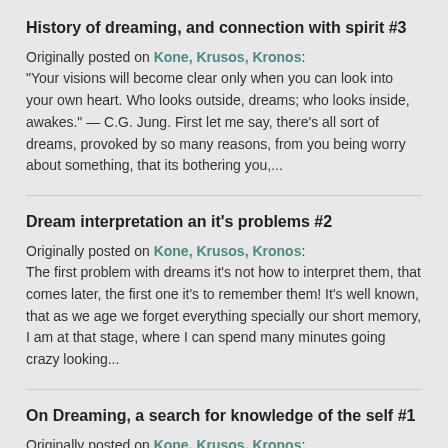History of dreaming, and connection with spirit #3
Originally posted on Kone, Krusos, Kronos:
"Your visions will become clear only when you can look into your own heart. Who looks outside, dreams; who looks inside, awakes." — C.G. Jung. First let me say, there's all sort of dreams, provoked by so many reasons, from you being worry about something, that its bothering you,...
Dream interpretation an it's problems #2
Originally posted on Kone, Krusos, Kronos:
The first problem with dreams it's not how to interpret them, that comes later, the first one it's to remember them! It's well known, that as we age we forget everything specially our short memory, I am at that stage, where I can spend many minutes going crazy looking...
On Dreaming, a search for knowledge of the self #1
Originally posted on Kone, Krusos, Kronos:
"God sleeps in the rock, dreams in the plant, stirs in the animal, and